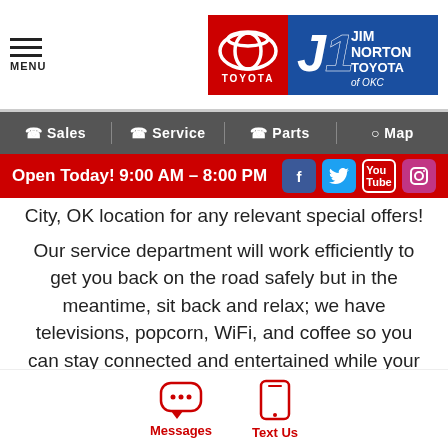[Figure (screenshot): Jim Norton Toyota of OKC dealership website header with menu icon, Toyota logo, and Jim Norton Toyota of OKC logo]
Sales  Service  Parts  Map
Open Today! 9:00 AM - 8:00 PM
City, OK location for any relevant special offers!
Our service department will work efficiently to get you back on the road safely but in the meantime, sit back and relax; we have televisions, popcorn, WiFi, and coffee so you can stay connected and entertained while your vehicle gets the attention it deserves! If your ride needs to stay with us for a larger repair or maintenance, we'll go over our shuttle service or talk to you about the rental you're interested in